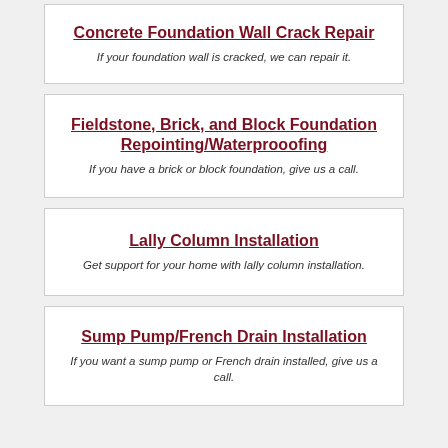Concrete Foundation Wall Crack Repair
If your foundation wall is cracked, we can repair it.
Fieldstone, Brick, and Block Foundation Repointing/Waterprooofing
If you have a brick or block foundation, give us a call.
Lally Column Installation
Get support for your home with lally column installation.
Sump Pump/French Drain Installation
If you want a sump pump or French drain installed, give us a call.